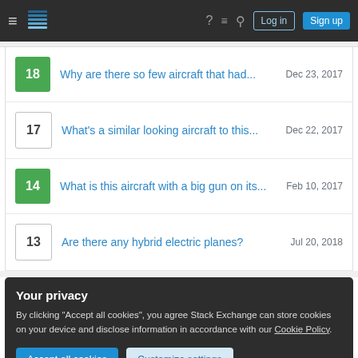Stack Exchange navigation bar with hamburger menu, logo, help, chat, search, Log in and Sign up buttons
18 — Why are there so few aircraft that had... — Dec 23, 2017
17 — What's a similar looking aircraft to this... — Dec 22, 2017
14 — What is this aircraft with a big gun on its... — Feb 10, 2017
13 — Are there any hybrid electric planes? — Jul 20, 2018
Your privacy
By clicking "Accept all cookies", you agree Stack Exchange can store cookies on your device and disclose information in accordance with our Cookie Policy.